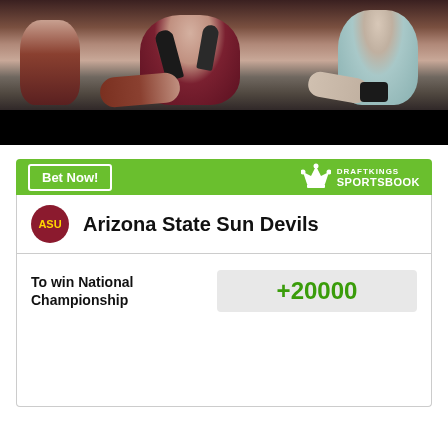[Figure (photo): Press conference photo showing a person in maroon Arizona State athletic wear speaking into microphones, with another person in a light blue shirt visible in the background. Bottom portion of image is black.]
[Figure (infographic): DraftKings Sportsbook betting widget showing Arizona State Sun Devils odds to win National Championship at +20000. Green header bar with 'Bet Now!' button and DraftKings Sportsbook logo. Team row with ASU circular badge and team name. Odds displayed in green text on gray background.]